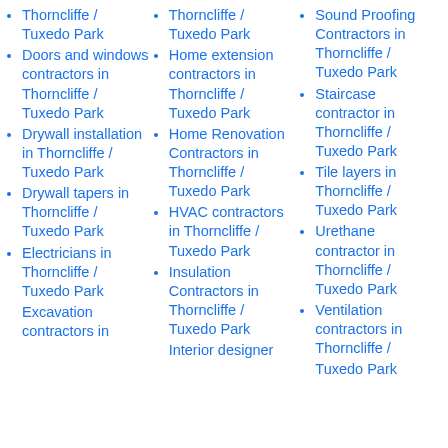Thorncliffe / Tuxedo Park
Doors and windows contractors in Thorncliffe / Tuxedo Park
Drywall installation in Thorncliffe / Tuxedo Park
Drywall tapers in Thorncliffe / Tuxedo Park
Electricians in Thorncliffe / Tuxedo Park
Excavation contractors in
Thorncliffe / Tuxedo Park
Home extension contractors in Thorncliffe / Tuxedo Park
Home Renovation Contractors in Thorncliffe / Tuxedo Park
HVAC contractors in Thorncliffe / Tuxedo Park
Insulation Contractors in Thorncliffe / Tuxedo Park
Interior designer
Sound Proofing Contractors in Thorncliffe / Tuxedo Park
Staircase contractor in Thorncliffe / Tuxedo Park
Tile layers in Thorncliffe / Tuxedo Park
Urethane contractor in Thorncliffe / Tuxedo Park
Ventilation contractors in Thorncliffe / Tuxedo Park
Tuxedo Park